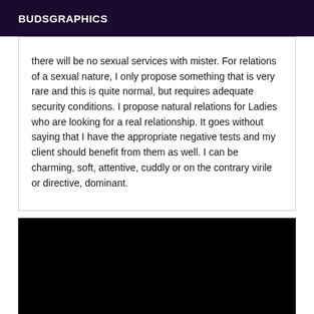BUDSGRAPHICS
there will be no sexual services with mister. For relations of a sexual nature, I only propose something that is very rare and this is quite normal, but requires adequate security conditions. I propose natural relations for Ladies who are looking for a real relationship. It goes without saying that I have the appropriate negative tests and my client should benefit from them as well. I can be charming, soft, attentive, cuddly or on the contrary virile or directive, dominant.
[Figure (photo): A mostly black image with a red and orange patterned strip visible at the very bottom, suggesting a partially visible image or graphic element.]